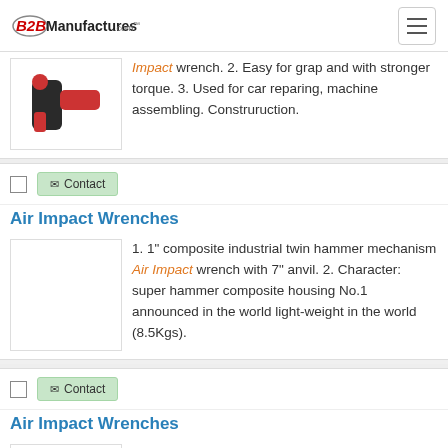B2BManufactures.com
Impact wrench. 2. Easy for grap and with stronger torque. 3. Used for car reparing, machine assembling. Construruction.
Contact
Air Impact Wrenches
1. 1" composite industrial twin hammer mechanism Air Impact wrench with 7" anvil. 2. Character: super hammer composite housing No.1 announced in the world light-weight in the world (8.5Kgs).
Contact
Air Impact Wrenches
1. 1/2" composite industrial twin hammer mechanism Air Impact wrench. 2. Comfortable, light weight but high torque, easy to maintenance.